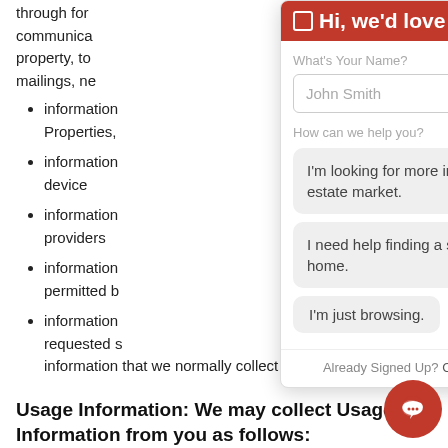through for communications, property, to mailings, ne
information Properties,
information device
information providers
information permitted b
information requested s information that we normally collect
[Figure (screenshot): A chat widget overlay showing a name input field with placeholder 'John Smith', a question 'How can we help you?' with three selectable options: 'I'm looking for more info on the real estate market.', 'I need help finding a specific type of home.', 'I'm just browsing.', and a footer with 'Already Signed Up? Click here to login.']
Usage Information: We may collect Usage Information from you as follows: